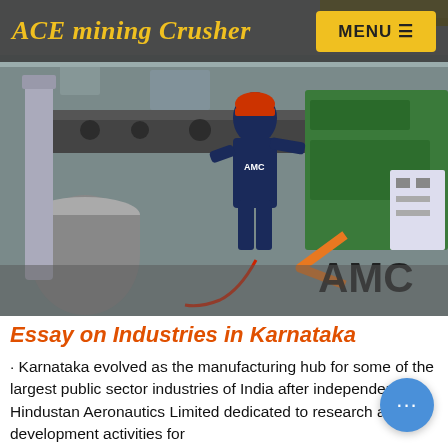ACE mining Crusher
[Figure (photo): Industrial worker in blue uniform and red helmet climbing on large heavy machinery equipment in a factory. AMC logo watermark visible in lower right corner of the image.]
Essay on Industries in Karnataka
· Karnataka evolved as the manufacturing hub for some of the largest public sector industries of India after independence. Hindustan Aeronautics Limited dedicated to research and development activities for